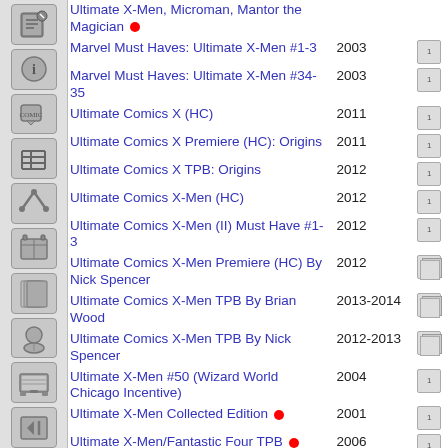Ultimate X-Men, Microman, Mantor the Magician
Marvel Must Haves: Ultimate X-Men #1-3 | 2003
Marvel Must Haves: Ultimate X-Men #34-35 | 2003
Ultimate Comics X (HC) | 2011
Ultimate Comics X Premiere (HC): Origins | 2011
Ultimate Comics X TPB: Origins | 2012
Ultimate Comics X-Men (HC) | 2012
Ultimate Comics X-Men (II) Must Have #1-3 | 2012
Ultimate Comics X-Men Premiere (HC) By Nick Spencer | 2012
Ultimate Comics X-Men TPB By Brian Wood | 2013-2014
Ultimate Comics X-Men TPB By Nick Spencer | 2012-2013
Ultimate X-Men #50 (Wizard World Chicago Incentive) | 2004
Ultimate X-Men Collected Edition | 2001
Ultimate X-Men/Fantastic Four TPB | 2006
Ultimate X-Men (Free Comic Book Day Edition) | 2003
Ultimate X-Men (HC) | 2002-2009
Ultimate X-Men Marvel's Greatest Comics | 2011
Ultimate X-Men Omnibus (HC) | 2022